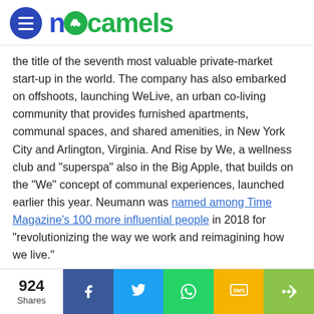[Figure (logo): NoCamels website logo with blue circular menu icon and green/blue NoCamels wordmark with camel silhouette in the 'o']
the title of the seventh most valuable private-market start-up in the world. The company has also embarked on offshoots, launching WeLive, an urban co-living community that provides furnished apartments, communal spaces, and shared amenities, in New York City and Arlington, Virginia. And Rise by We, a wellness club and “superspa” also in the Big Apple, that builds on the “We” concept of communal experiences, launched earlier this year. Neumann was named among Time Magazine’s 100 more influential people in 2018 for “revolutionizing the way we work and reimagining how we live.”
[Figure (other): Horizontal gradient bar transitioning from dark maroon/wine on the left to grey on the right]
924 Shares